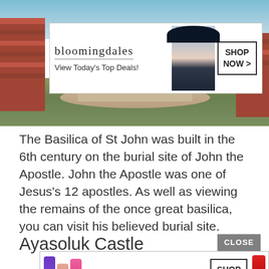[Figure (photo): Outdoor ruins/archaeological site photo showing brick walls, ancient columns, stone pathways and green grass, with a Bloomingdales advertisement banner overlaid on the photo. The scene shows what appears to be the Basilica of St John ruins.]
The Basilica of St John was built in the 6th century on the burial site of John the Apostle.  John the Apostle was one of Jesus's 12 apostles.  As well as viewing the remains of the once great basilica, you can visit his believed burial site.
Ayasoluk Castle
[Figure (screenshot): Bottom advertisement banner for MAC cosmetics showing lipsticks in purple, peach, and pink colors, MAC logo, a SHOP NOW button, and a red lipstick on the right side.]